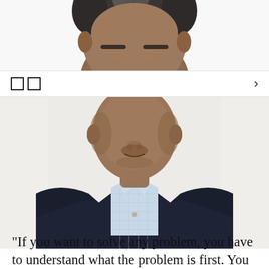[Figure (photo): Top portion of a man's head with short grey-black hair on white background, cropped at eyes]
[Figure (other): Navigation bar with two small square icons on the left and a right-arrow chevron on the right]
[Figure (photo): Portrait photo of a Black man in a dark navy blazer and light blue checked dress shirt, smiling slightly, white background, cropped from nose to chest]
“If you want to solve any problem, you have to understand what the problem is first. You have to get